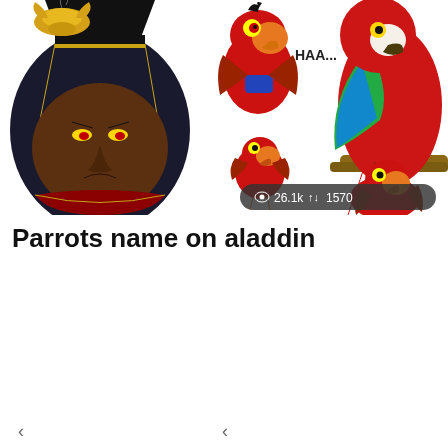[Figure (illustration): Composite image showing Disney Aladdin characters: Jafar villain face on the left, cartoon Iago parrot saying 'HAA...' in the center-top, a real-life red and green macaw parrot on the right, a small laughing Iago cartoon in the center-lower area, and more Iago characters on the bottom right. A stats badge shows eye icon 26.1k and arrow icon 1570.]
Parrots name on aladdin